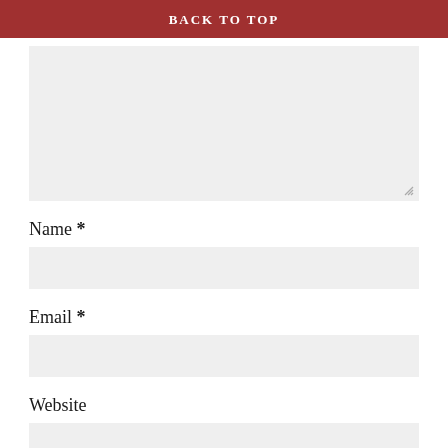BACK TO TOP
[Figure (other): Large empty textarea input box with resize handle in bottom-right corner]
Name *
[Figure (other): Text input field for Name]
Email *
[Figure (other): Text input field for Email]
Website
[Figure (other): Text input field for Website]